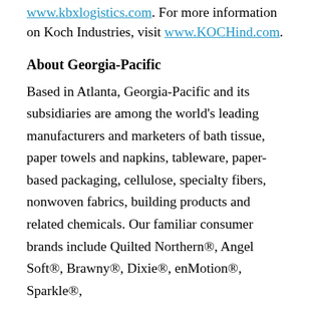www.kbxlogistics.com. For more information on Koch Industries, visit www.KOCHind.com.
About Georgia-Pacific
Based in Atlanta, Georgia-Pacific and its subsidiaries are among the world's leading manufacturers and marketers of bath tissue, paper towels and napkins, tableware, paper-based packaging, cellulose, specialty fibers, nonwoven fabrics, building products and related chemicals. Our familiar consumer brands include Quilted Northern®, Angel Soft®, Brawny®, Dixie®, enMotion®, Sparkle®,